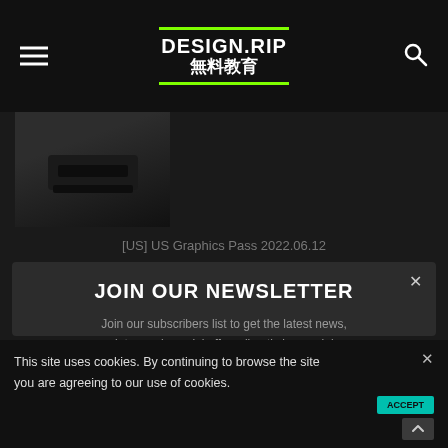DESIGN.RIP 無料教育
[Figure (photo): Partial photo of a dark object on dark background, cropped at top]
[US] US Graphics Pass 2022.06.12
JOIN OUR NEWSLETTER
Join our subscribers list to get the latest news, updates and special offers directly in your inbox
Email
Subscribe
No, thanks
This site uses cookies. By continuing to browse the site you are agreeing to our use of cookies.